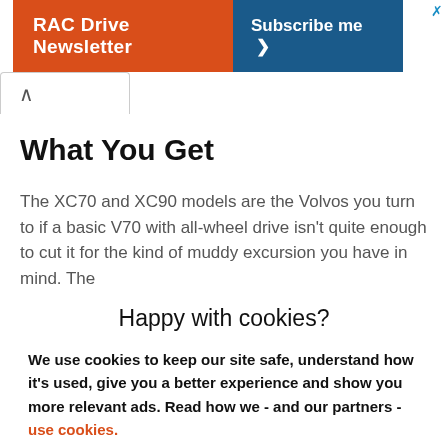[Figure (screenshot): Orange RAC Drive Newsletter banner ad with 'Subscribe me' button and close X]
What You Get
The XC70 and XC90 models are the Volvos you turn to if a basic V70 with all-wheel drive isn't quite enough to cut it for the kind of muddy excursion you have in mind. The
Happy with cookies?
We use cookies to keep our site safe, understand how it's used, give you a better experience and show you more relevant ads. Read how we - and our partners - use cookies.
Yes, that's fine
No, manage cookies